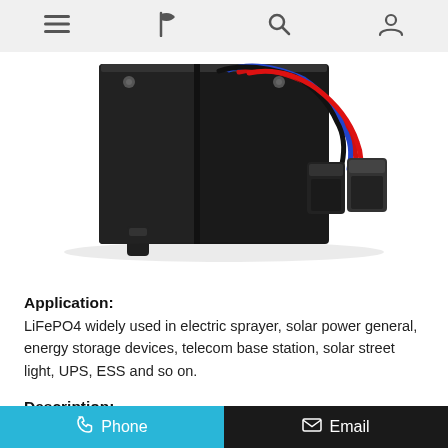Navigation bar with menu, flag, search, and account icons
[Figure (photo): LiFePO4 battery pack with red, blue, and black wires and connector plugs on a white background]
Application:
LiFePO4 widely used in electric sprayer, solar power general, energy storage devices, telecom base station, solar street light, UPS, ESS and so on.
Description:
The lithium iron phosphate battery is a type of rechargeable battery based on the original lithium ion chemistry, created by the use of Iron (Fe) as a cathode material. LiFePO4 cells have a
Phone   Email